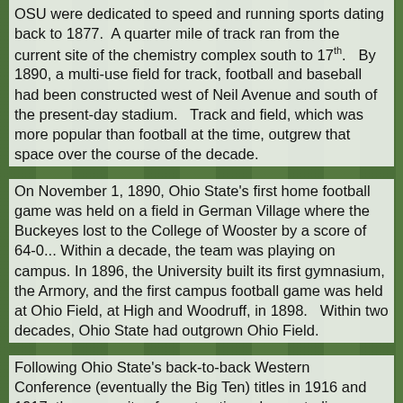OSU were dedicated to speed and running sports dating back to 1877. A quarter mile of track ran from the current site of the chemistry complex south to 17th. By 1890, a multi-use field for track, football and baseball had been constructed west of Neil Avenue and south of the present-day stadium. Track and field, which was more popular than football at the time, outgrew that space over the course of the decade.
On November 1, 1890, Ohio State's first home football game was held on a field in German Village where the Buckeyes lost to the College of Wooster by a score of 64-0... Within a decade, the team was playing on campus. In 1896, the University built its first gymnasium, the Armory, and the first campus football game was held at Ohio Field, at High and Woodruff, in 1898. Within two decades, Ohio State had outgrown Ohio Field.
Following Ohio State's back-to-back Western Conference (eventually the Big Ten) titles in 1916 and 1917, the necessity of constructing a large stadium became apparent. When Ohio State and Illinois met for the Western Conference championship in 1919, 20,000 people watched the game in the bleachers or along Ohio Field's perimeter; an estimated 40,000 people stood farther out. Spectators broke down the field's fence and sat on the turf; nearby